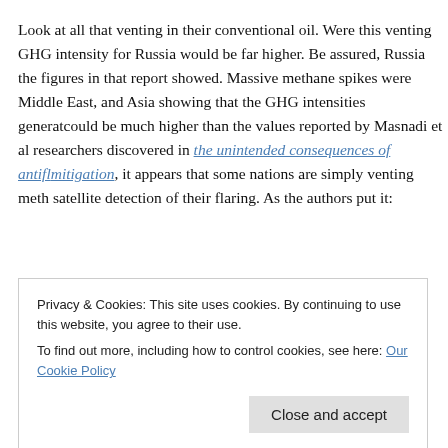Look at all that venting in their conventional oil. Were this venting counted, GHG intensity for Russia would be far higher. Be assured, Russia is higher than the figures in that report showed. Massive methane spikes were detected in the Middle East, and Asia showing that the GHG intensities generated from their oil could be much higher than the values reported by Masnadi et al. As researchers discovered in the unintended consequences of antiflaring mitigation, it appears that some nations are simply venting methane to evade satellite detection of their flaring. As the authors put it:
viewed through the lens of the multitask problem, these findings suggest state-owned Türkmengaz, the field's operator, had been systematically venting gas rather than flaring it to evade detection.
Privacy & Cookies: This site uses cookies. By continuing to use this website, you agree to their use. To find out more, including how to control cookies, see here: Our Cookie Policy
may choose to vent to avoid detection (or simply because they